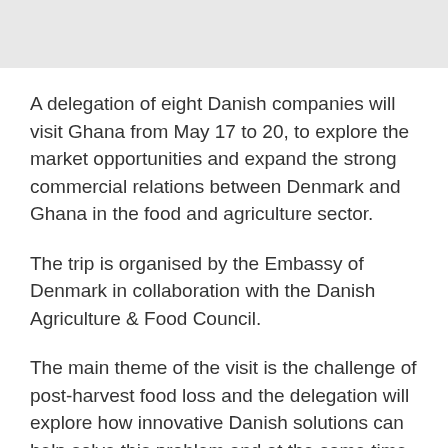[Figure (other): Gray banner/header bar at the top of the page]
A delegation of eight Danish companies will visit Ghana from May 17 to 20, to explore the market opportunities and expand the strong commercial relations between Denmark and Ghana in the food and agriculture sector.
The trip is organised by the Embassy of Denmark in collaboration with the Danish Agriculture & Food Council.
The main theme of the visit is the challenge of post-harvest food loss and the delegation will explore how innovative Danish solutions can help solve this problem and at the same time increase sustainable economic growth in the food and agriculture sector in Ghana.
The companies seek to gain market insights and build relationships with potential customers and key partners in